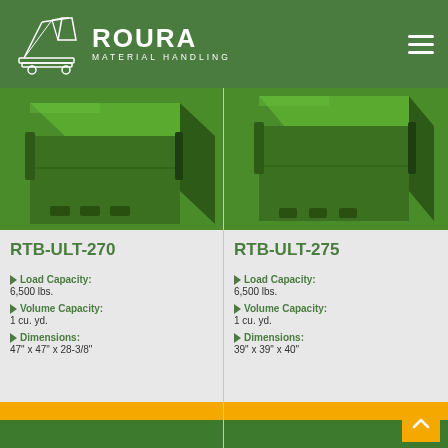[Figure (logo): Roura Material Handling logo with crane/bucket illustration]
ROURA MATERIAL HANDLING
[Figure (photo): Green industrial tipping/roll-off container RTB-ULT-270, close-up of top corner]
RTB-ULT-270
Load Capacity: 6,500 lbs.
Volume Capacity: 1 cu. yd.
Dimensions: 47" x 47" x 28-3/8"
[Figure (photo): Green industrial tipping/roll-off container RTB-ULT-275, close-up of top corner]
RTB-ULT-275
Load Capacity: 6,500 lbs.
Volume Capacity: 1 cu. yd.
Dimensions: 39" x 39" x 40"